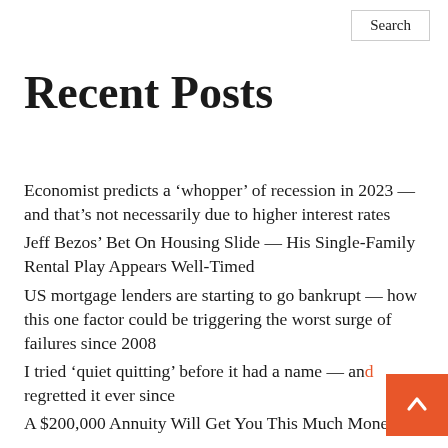Search
Recent Posts
Economist predicts a ‘whopper’ of recession in 2023 — and that’s not necessarily due to higher interest rates
Jeff Bezos’ Bet On Housing Slide — His Single-Family Rental Play Appears Well-Timed
US mortgage lenders are starting to go bankrupt — how this one factor could be triggering the worst surge of failures since 2008
I tried ‘quiet quitting’ before it had a name — and regretted it ever since
A $200,000 Annuity Will Get You This Much Money a